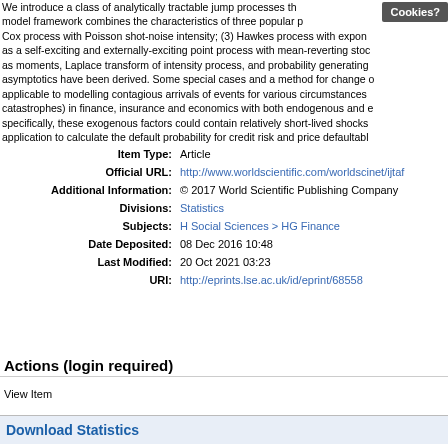We introduce a class of analytically tractable jump processes th... model framework combines the characteristics of three popular p... Cox process with Poisson shot-noise intensity; (3) Hawkes process with expon... as a self-exciting and externally-exciting point process with mean-reverting stoc... as moments, Laplace transform of intensity process, and probability generating... asymptotics have been derived. Some special cases and a method for change o... applicable to modelling contagious arrivals of events for various circumstances... catastrophes) in finance, insurance and economics with both endogenous and e... specifically, these exogenous factors could contain relatively short-lived shocks... application to calculate the default probability for credit risk and price defaultabl...
Item Type: Article
Official URL: http://www.worldscientific.com/worldscinet/ijtaf
Additional Information: © 2017 World Scientific Publishing Company
Divisions: Statistics
Subjects: H Social Sciences > HG Finance
Date Deposited: 08 Dec 2016 10:48
Last Modified: 20 Oct 2021 03:23
URI: http://eprints.lse.ac.uk/id/eprint/68558
Actions (login required)
View Item
Download Statistics